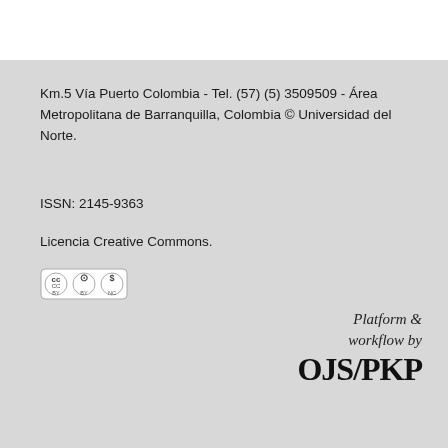Km.5 Vía Puerto Colombia - Tel. (57) (5) 3509509 - Área Metropolitana de Barranquilla, Colombia © Universidad del Norte.
ISSN: 2145-9363
Licencia Creative Commons.
[Figure (logo): Creative Commons BY-NC license badge]
Platform & workflow by OJS/PKP